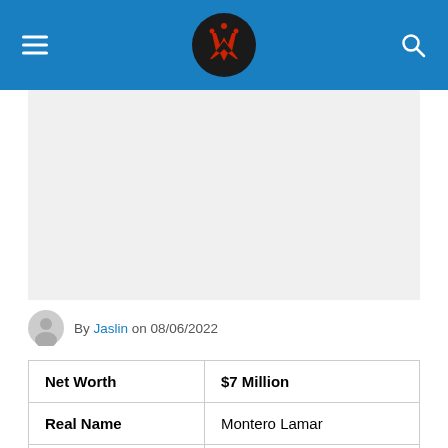Navigation header with logo and search
[Figure (photo): Large image placeholder area (grey)]
By Jaslin on 08/06/2022
| Net Worth | $7 Million |
| Real Name | Montero Lamar |
| Date of Birth | April 9, 1999 |